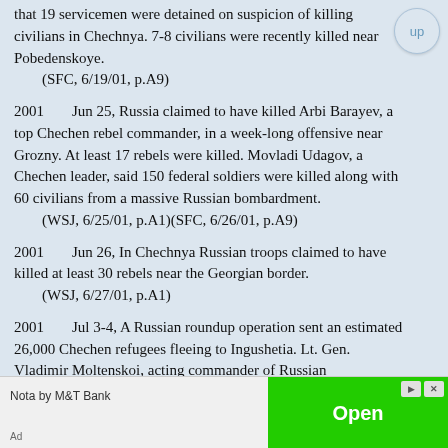that 19 servicemen were detained on suspicion of killing civilians in Chechnya. 7-8 civilians were recently killed near Pobedenskoye.
(SFC, 6/19/01, p.A9)
2001 Jun 25, Russia claimed to have killed Arbi Barayev, a top Chechen rebel commander, in a week-long offensive near Grozny. At least 17 rebels were killed. Movladi Udagov, a Chechen leader, said 150 federal soldiers were killed along with 60 civilians from a massive Russian bombardment.
(WSJ, 6/25/01, p.A1)(SFC, 6/26/01, p.A9)
2001 Jun 26, In Chechnya Russian troops claimed to have killed at least 30 rebels near the Georgian border.
(WSJ, 6/27/01, p.A1)
2001 Jul 3-4, A Russian roundup operation sent an estimated 26,000 Chechen refugees fleeing to Ingushetia. Lt. Gen. Vladimir Moltenskoi, acting commander of Russian...